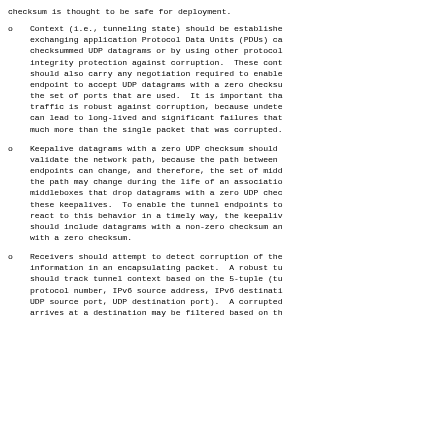checksum is thought to be safe for deployment.
Context (i.e., tunneling state) should be established before exchanging application Protocol Data Units (PDUs) carried in checksummed UDP datagrams or by using other protocols with integrity protection against corruption. These cont should also carry any negotiation required to enable endpoint to accept UDP datagrams with a zero checksum the set of ports that are used. It is important tha traffic is robust against corruption, because undete can lead to long-lived and significant failures that much more than the single packet that was corrupted.
Keepalive datagrams with a zero UDP checksum should validate the network path, because the path between endpoints can change, and therefore, the set of midd the path may change during the life of an associatio middleboxes that drop datagrams with a zero UDP chec these keepalives. To enable the tunnel endpoints to react to this behavior in a timely way, the keepaliv should include datagrams with a non-zero checksum an with a zero checksum.
Receivers should attempt to detect corruption of the information in an encapsulating packet. A robust tu should track tunnel context based on the 5-tuple (tu protocol number, IPv6 source address, IPv6 destinati UDP source port, UDP destination port). A corrupted arrives at a destination may be filtered based on th